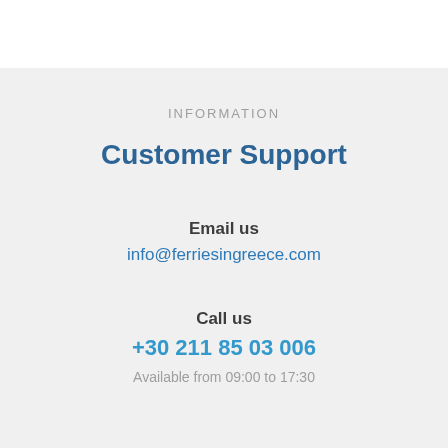INFORMATION
Customer Support
Email us
info@ferriesingreece.com
Call us
+30 211 85 03 006
Available from 09:00 to 17:30